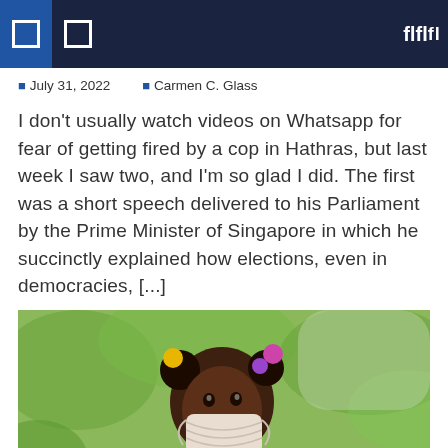Navigation header with icons
July 31, 2022   Carmen C. Glass
I don't usually watch videos on Whatsapp for fear of getting fired by a cop in Hathras, but last week I saw two, and I'm so glad I did. The first was a short speech delivered to his Parliament by the Prime Minister of Singapore in which he succinctly explained how elections, even in democracies, [...]
[Figure (photo): Young Black girl wearing a face mask and yellow knit sweater, looking back over her shoulder, with green blurred background. She has colorful hair accessories.]